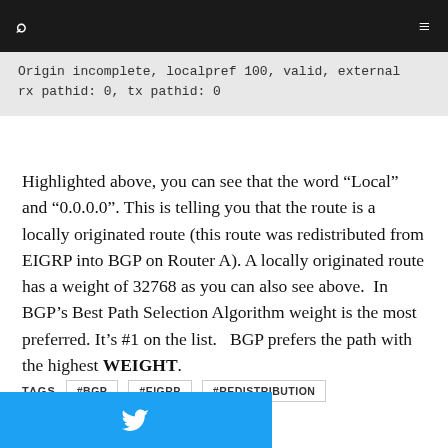Navigation bar with search and menu icons
Origin incomplete, localpref 100, valid, external
rx pathid: 0, tx pathid: 0
Highlighted above, you can see that the word “Local” and “0.0.0.0”. This is telling you that the route is a locally originated route (this route was redistributed from EIGRP into BGP on Router A). A locally originated route has a weight of 32768 as you can also see above.  In BGP’s Best Path Selection Algorithm weight is the most preferred. It’s #1 on the list.   BGP prefers the path with the highest WEIGHT.
TAGS  #BGP  #EIGRP  #REDISTRIBUTION